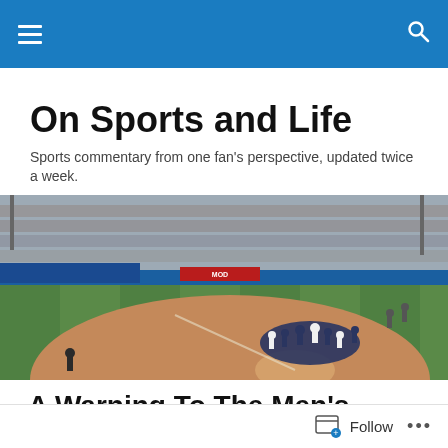Navigation bar with menu and search icons
On Sports and Life
Sports commentary from one fan's perspective, updated twice a week.
[Figure (photo): Baseball stadium with players gathered on the field near home plate, fans in the stands, green field with red clay infield]
A Warning To The Men’s Tours: Nothing Grows Forever
Follow  ...